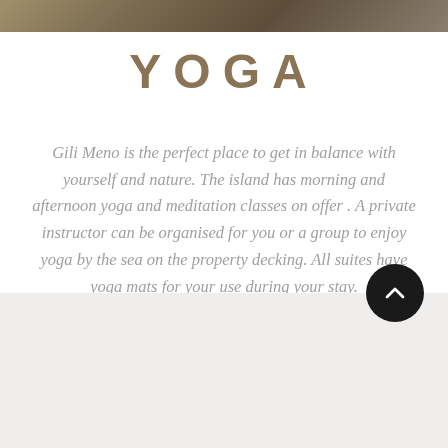[Figure (photo): Partial photo strip at top of page showing natural/earth tones]
YOGA
Gili Meno is the perfect place to get in balance with yourself and nature.  The island has morning and afternoon yoga and meditation classes on offer .  A private instructor can be organised for you or a group to enjoy yoga by the sea on the property decking.  All suites have yoga mats for your use during your stay.
[Figure (other): Gray section at bottom with a dark circular back/up button with chevron icon]